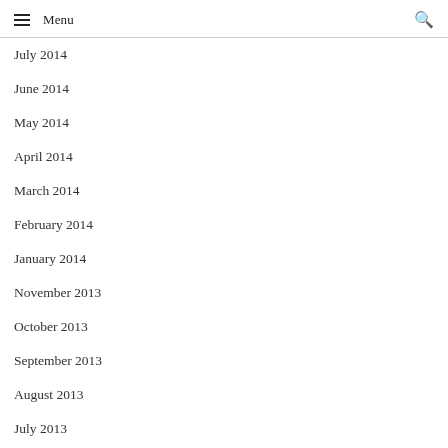Menu
July 2014
June 2014
May 2014
April 2014
March 2014
February 2014
January 2014
November 2013
October 2013
September 2013
August 2013
July 2013
June 2013
May 2013